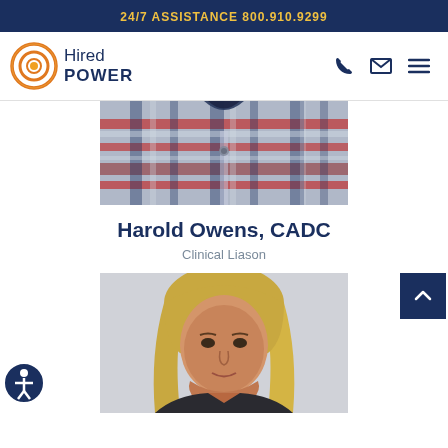24/7 ASSISTANCE 800.910.9299
[Figure (logo): Hired Power logo with circular orange sun icon and blue company name text]
[Figure (photo): Photo of a man from neck down wearing a red and blue plaid shirt, cropped at top of image]
Harold Owens, CADC
Clinical Liason
[Figure (photo): Photo of a woman with blonde hair wearing a dark jacket, looking at camera against grey background]